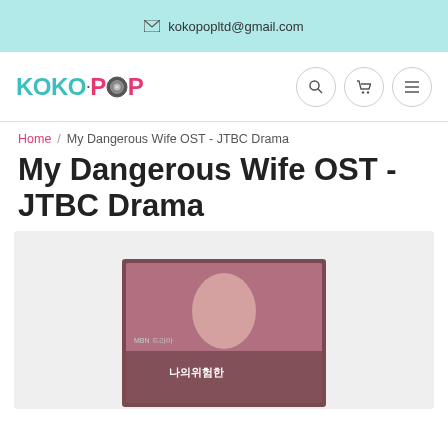kokopopltd@gmail.com
[Figure (logo): KOKO·POP logo with teal and pink text and a camera lens icon]
Home / My Dangerous Wife OST - JTBC Drama
My Dangerous Wife OST - JTBC Drama
[Figure (photo): Product photo of a Korean drama OST album book for 나의위험한 (My Dangerous Wife) JTBC Drama, showing a woman on the cover]